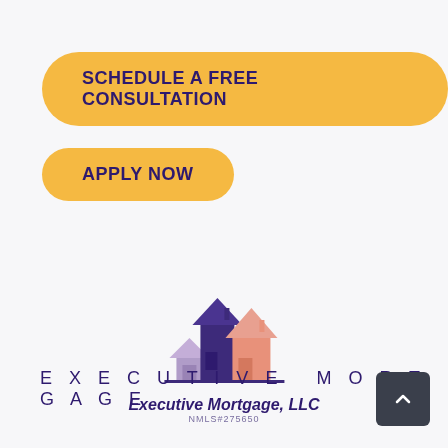SCHEDULE A FREE CONSULTATION
APPLY NOW
[Figure (logo): Executive Mortgage LLC logo with three house silhouettes in purple, pink/salmon, and light purple colors, with company name 'Executive Mortgage, LLC' and 'NMLS#275650' below]
EXECUTIVE MORTGAGE